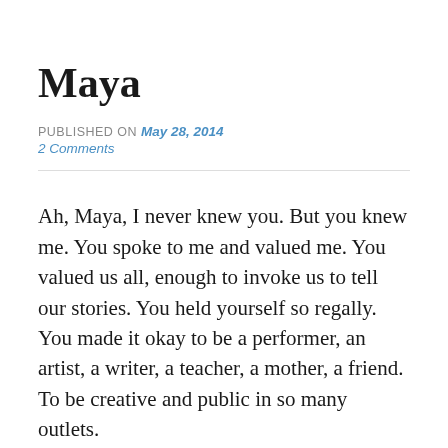Maya
PUBLISHED ON May 28, 2014
2 Comments
Ah, Maya, I never knew you. But you knew me. You spoke to me and valued me. You valued us all, enough to invoke us to tell our stories. You held yourself so regally. You made it okay to be a performer, an artist, a writer, a teacher, a mother, a friend. To be creative and public in so many outlets.
At times, I have felt, I am too many things. I should be only one. But you showed me that we contain multitudes. Besides that, we shared the same birthday